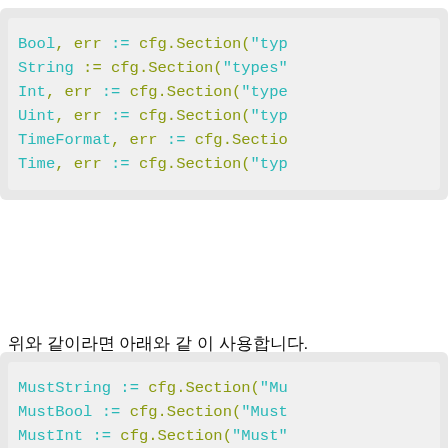[Figure (screenshot): Code block showing Go variable assignments: Bool, String, Int, Uint, TimeFormat, Time using cfg.Section() calls with := operator and string arguments shown in teal]
위와 같이라면 아래와 같 이 사용합니다.
[Figure (screenshot): Code block showing Go variable assignments: MustString, MustBool, MustInt, MustUint using cfg.Section() calls with := operator]